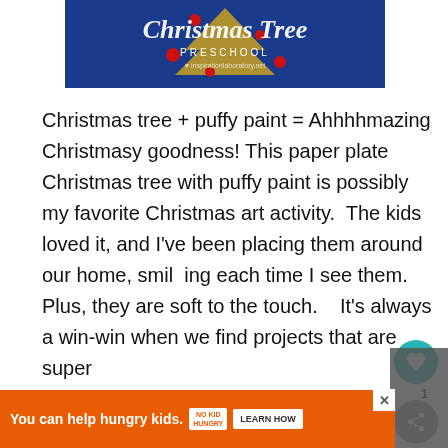[Figure (photo): Christmas Tree Preschool craft header image on blue background with gold glitter tree shape and red ornaments, with cursive text 'Christmas Tree' and 'PRESCHOOL' subtitle]
Christmas tree + puffy paint = Ahhhhmazing Christmasy goodness! This paper plate Christmas tree with puffy paint is possibly my favorite Christmas art activity.  The kids loved it, and I've been placing them around our home, smil  ing each time I see them. Plus, they are soft to the touch.    It's always a win-win when we find projects that are super
[Figure (other): Teal circular heart/favorite button with heart icon]
1
[Figure (other): Gray circular share button with share icon]
[Figure (other): Orange advertisement banner: 'You can help hungry kids.' with No Kid Hungry logo and LEARN HOW button]